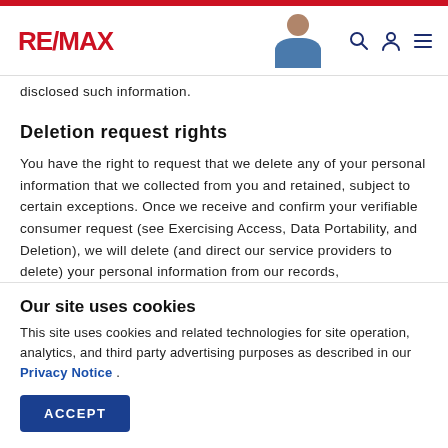RE/MAX
disclosed such information.
Deletion request rights
You have the right to request that we delete any of your personal information that we collected from you and retained, subject to certain exceptions. Once we receive and confirm your verifiable consumer request (see Exercising Access, Data Portability, and Deletion), we will delete (and direct our service providers to delete) your personal information from our records,
Our site uses cookies
This site uses cookies and related technologies for site operation, analytics, and third party advertising purposes as described in our Privacy Notice .
ACCEPT